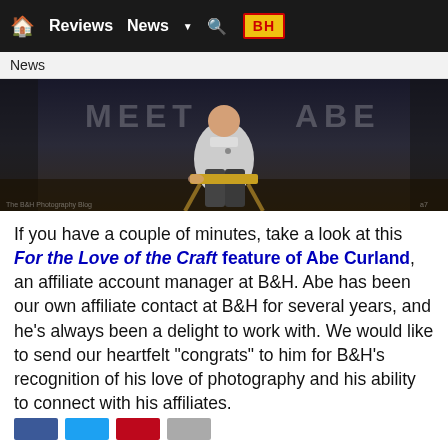Home | Reviews | News | B&H
News
[Figure (photo): A man in a white shirt sitting in a director's chair on a dark stage with text 'MEET ABE' partially visible in the background]
If you have a couple of minutes, take a look at this For the Love of the Craft feature of Abe Curland, an affiliate account manager at B&H. Abe has been our own affiliate contact at B&H for several years, and he's always been a delight to work with. We would like to send our heartfelt "congrats" to him for B&H's recognition of his love of photography and his ability to connect with his affiliates.